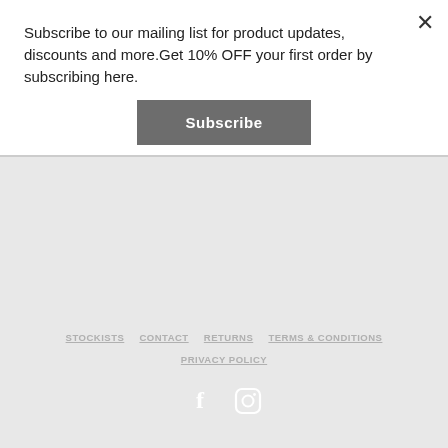Subscribe to our mailing list for product updates, discounts and more.Get 10% OFF your first order by subscribing here.
Subscribe
STOCKISTS  CONTACT  RETURNS  TERMS & CONDITIONS  PRIVACY POLICY
[Figure (infographic): Facebook and Instagram social media icons in white on gray background]
Copyright © 2022. Alcohol Tea Bombs
Powered by Shopify
[Figure (infographic): Payment method icons: Amex, Apple Pay, JCB, Mastercard, PayPal, ShopPay, Visa]